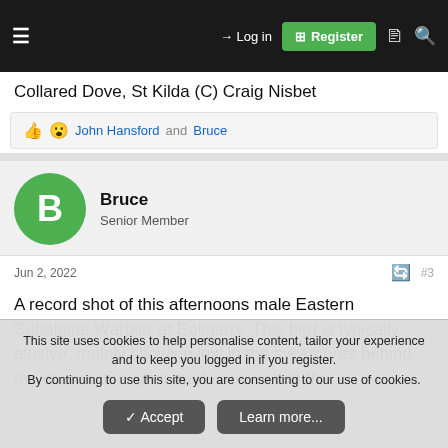≡  → Log in  ⊞ Register
Collared Dove, St Kilda (C) Craig Nisbet
👍 😮 John Hansford and Bruce
Bruce
Senior Member
Jun 2, 2022  #3
A record shot of this afternoons male Eastern Subalpine Warbler at Eoligarry. This bird is typically elusive, mainly showing low in the sycamores behind the church, though it made one visit to the
This site uses cookies to help personalise content, tailor your experience and to keep you logged in if you register.
By continuing to use this site, you are consenting to our use of cookies.
✓ Accept   Learn more...